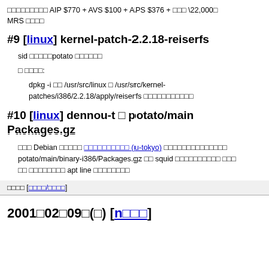fffffffffffff AIP $770 + AVS $100 + APS $376 + ffff ¥22,000ff MRS fffff
#9 [linux] kernel-patch-2.2.18-reiserfs
sid ffffffpotato ffffffff
f ffff:
dpkg -i ff /usr/src/linux f /usr/src/kernel-patches/i386/2.2.18/apply/reiserfs ffffffffffff
#10 [linux] dennou-t f potato/main Packages.gz
fff Debian ffffff ffffffffffff (u-tokyo) ffffffffffffffffff potato/main/binary-i386/Packages.gz ff squid ffffffffffff ffff ff fffffffff apt line fffffffff
ffff [ffff/ffff]
2001f02f09f(f) [nfff]